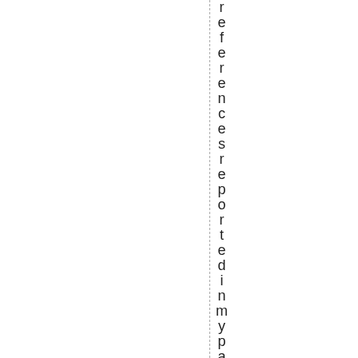references reported in my paper are